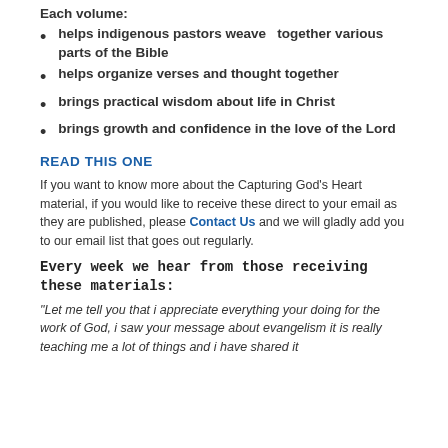Each volume:
helps indigenous pastors weave together various parts of the Bible
helps organize verses and thought together
brings practical wisdom about life in Christ
brings growth and confidence in the love of the Lord
READ THIS ONE
If you want to know more about the Capturing God's Heart material, if you would like to receive these direct to your email as they are published, please Contact Us and we will gladly add you to our email list that goes out regularly.
Every week we hear from those receiving these materials:
“Let me tell you that i appreciate everything your doing for the work of God, i saw your message about evangelism it is really teaching me a lot of things and i have shared it